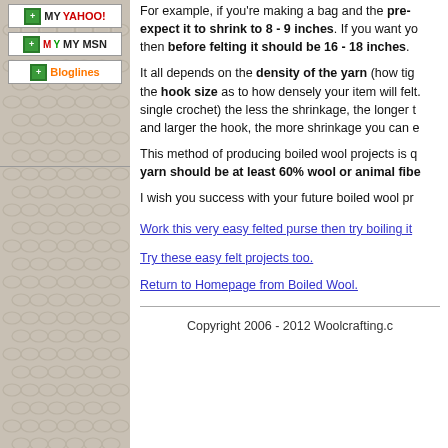[Figure (other): Sidebar with wool texture background and three subscription buttons: MY YAHOO!, MY MSN, Bloglines]
For example, if you're making a bag and the pre-felted size should be 16 - 18 inches, expect it to shrink to 8 - 9 inches. If you want your finished bag to be 16 - 18 inches, then before felting it should be 16 - 18 inches.
It all depends on the density of the yarn (how tightly it is spun) and the hook size as to how densely your item will felt. The tighter the stitch (single crochet) the less the shrinkage, the longer the felting process; and larger the hook, the more shrinkage you can e
This method of producing boiled wool projects is q yarn should be at least 60% wool or animal fib
I wish you success with your future boiled wool pr
Work this very easy felted purse then try boiling it
Try these easy felt projects too.
Return to Homepage from Boiled Wool.
Copyright 2006 - 2012 Woolcrafting.c